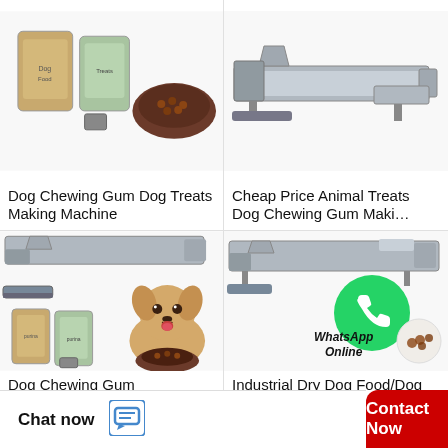[Figure (photo): Dog treats/food bags and bowl with dog food on white background - product listing image]
Dog Chewing Gum Dog Treats Making Machine
[Figure (photo): Dog chewing gum making machine - industrial extrusion equipment on white background]
Cheap Price Animal Treats Dog Chewing Gum Maki…
[Figure (photo): Dog chewing gum extruder machine with dog food bags and golden retriever puppy with food bowl]
Dog Chewing Gum Extruder/Dog Treat Maki…
[Figure (photo): Industrial dry dog food machine with WhatsApp Online overlay icon and dog chews product image]
Industrial Dry Dog Food/Dog Chews/Dog…
Chat now   Contact Now